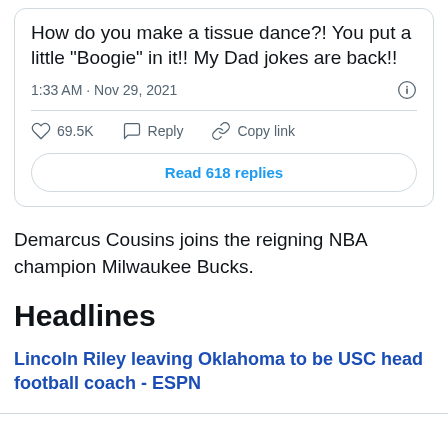How do you make a tissue dance?! You put a little "Boogie" in it!! My Dad jokes are back!!
1:33 AM · Nov 29, 2021
69.5K   Reply   Copy link
Read 618 replies
Demarcus Cousins joins the reigning NBA champion Milwaukee Bucks.
Headlines
Lincoln Riley leaving Oklahoma to be USC head football coach - ESPN